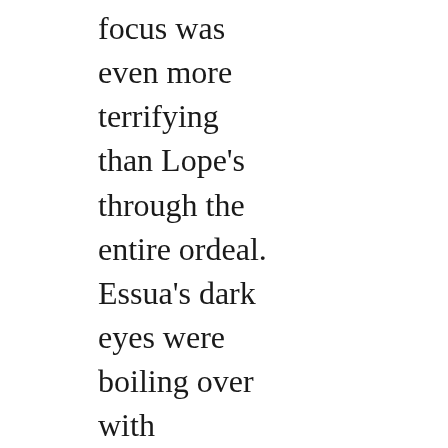focus was even more terrifying than Lope's through the entire ordeal. Essua's dark eyes were boiling over with contempt, his whole face scrunched into a look of disgust coupled with